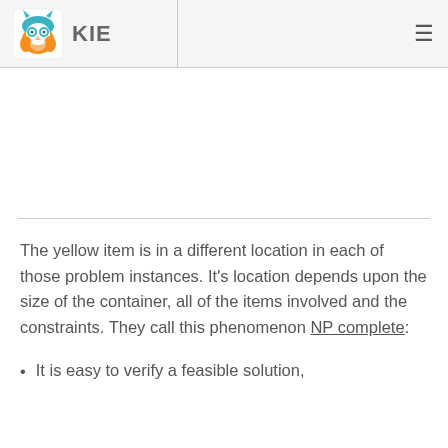KIE
The yellow item is in a different location in each of those problem instances. It’s location depends upon the size of the container, all of the items involved and the constraints. They call this phenomenon NP complete:
It is easy to verify a feasible solution,